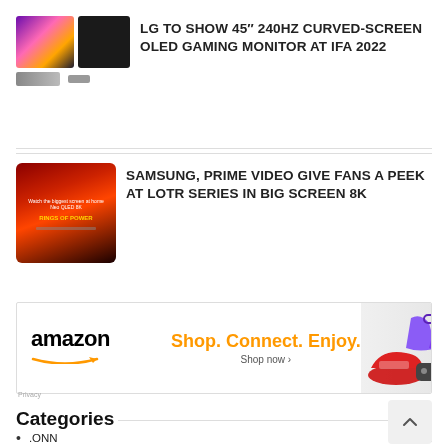[Figure (photo): Two thumbnail images of LG OLED gaming monitor: one showing colorful display, one showing dark monitor]
LG TO SHOW 45″ 240HZ CURVED-SCREEN OLED GAMING MONITOR AT IFA 2022
[Figure (photo): Thumbnail image of Samsung Neo QLED 8K TV showing Rings of Power promotional content]
SAMSUNG, PRIME VIDEO GIVE FANS A PEEK AT LOTR SERIES IN BIG SCREEN 8K
[Figure (photo): Amazon advertisement banner: Shop. Connect. Enjoy. Shop now with amazon logo and product images]
Categories
.ONN	1
0% FINANCING